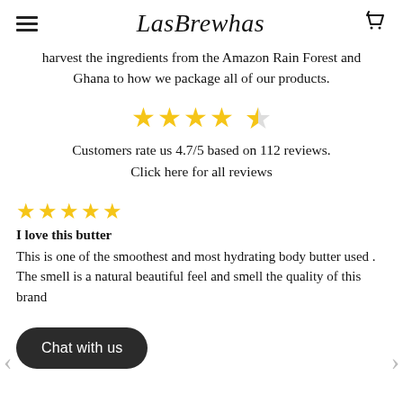LasBrewhas
harvest the ingredients from the Amazon Rain Forest and Ghana to how we package all of our products.
[Figure (other): 4.7 out of 5 stars rating display — 4 full gold stars and 1 half gold star]
Customers rate us 4.7/5 based on 112 reviews. Click here for all reviews
[Figure (other): 5 full gold stars rating display for individual review]
I love this butter
This is one of the smoothest and most hydrating body butter used . The smell is a natural beautiful feel and smell the quality of this brand